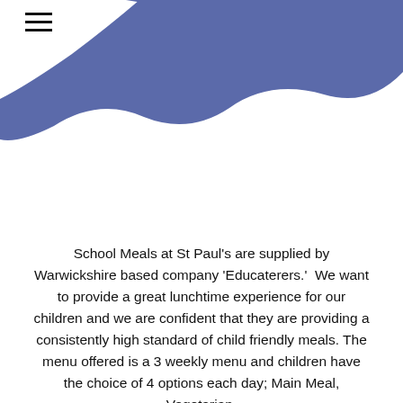[Figure (illustration): Blue wave shape decorative header element spanning the top portion of the page]
School Meals at St Paul's are supplied by Warwickshire based company 'Educaterers.'  We want to provide a great lunchtime experience for our children and we are confident that they are providing a consistently high standard of child friendly meals. The menu offered is a 3 weekly menu and children have the choice of 4 options each day; Main Meal, Vegetarian,